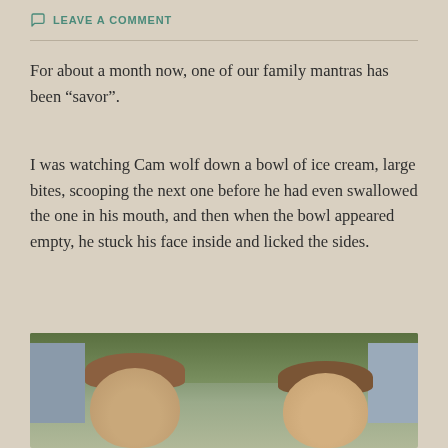LEAVE A COMMENT
For about a month now, one of our family mantras has been “savor”.
I was watching Cam wolf down a bowl of ice cream, large bites, scooping the next one before he had even swallowed the one in his mouth, and then when the bowl appeared empty, he stuck his face inside and licked the sides.
To say Cam and Demi like sweets is an understatement.
[Figure (photo): Photo of two children (Cam and Demi) seen from above, with trees and a house exterior in the background.]